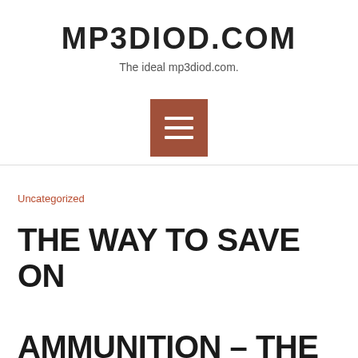MP3DIOD.COM
The ideal mp3diod.com.
[Figure (other): Hamburger menu button icon with three white horizontal lines on a brown/terracotta square background]
Uncategorized
THE WAY TO SAVE ON AMMUNITION – THE EXPENSE OF RELOADING